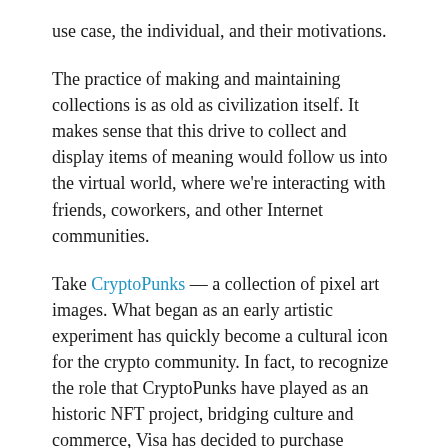use case, the individual, and their motivations.
The practice of making and maintaining collections is as old as civilization itself. It makes sense that this drive to collect and display items of meaning would follow us into the virtual world, where we're interacting with friends, coworkers, and other Internet communities.
Take CryptoPunks — a collection of pixel art images. What began as an early artistic experiment has quickly become a cultural icon for the crypto community. In fact, to recognize the role that CryptoPunks have played as an historic NFT project, bridging culture and commerce, Visa has decided to purchase CryptoPunk 7610.
Let's talk more about the CryptoPunks. Why